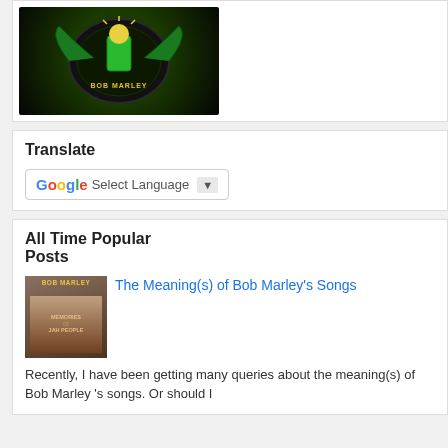[Figure (photo): Circular logo/patch on black background with colorful design, top-left widget area]
Translate
[Figure (screenshot): Google Translate widget with Select Language dropdown]
All Time Popular Posts
[Figure (photo): Bob Marley book cover thumbnail - Memories of Jah People]
The Meaning(s) of Bob Marley's Songs
Recently, I have been getting many queries about the meaning(s) of Bob Marley 's songs. Or should I
[Figure (photo): Dark background image with quote box and Exoner text on right side]
"I have respect
Exoner
The unqualified achievement of the U... Association and African Communities Marcus Mosiah Garvey (1887-1940), owed its success to many sources.
One of Garvey's main influences wa...